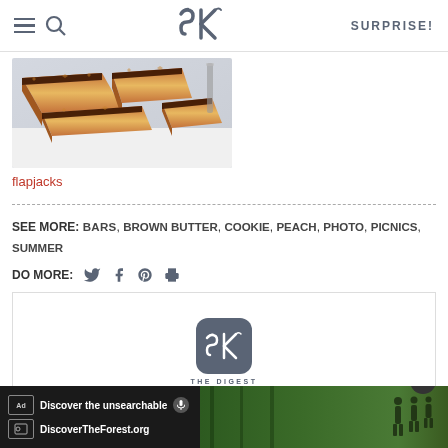SK SURPRISE!
[Figure (photo): Photo of flapjack bars — golden oat bars with chocolate, cut into squares, stacked on a white surface]
flapjacks
SEE MORE: BARS, BROWN BUTTER, COOKIE, PEACH, PHOTO, PICNICS, SUMMER
DO MORE: [twitter] [facebook] [pinterest] [print]
[Figure (logo): SK The Digest logo — rounded square with SK monogram and text THE DIGEST below]
[Figure (screenshot): Ad banner: Discover the unsearchable / DiscoverTheForest.org with forest/people image]